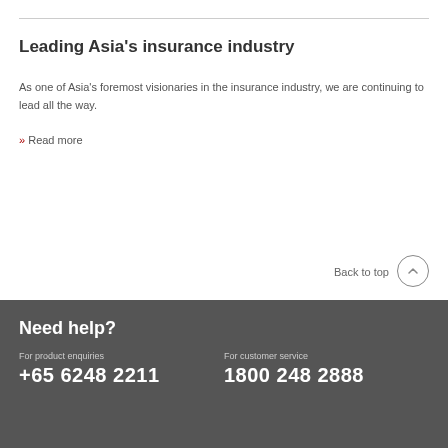Leading Asia's insurance industry
As one of Asia's foremost visionaries in the insurance industry, we are continuing to lead all the way.
» Read more
Back to top
Need help?
For product enquiries
+65 6248 2211
For customer service
1800 248 2888